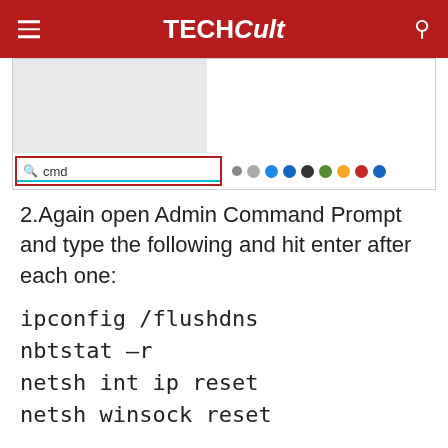TECHCult
[Figure (screenshot): Windows taskbar search box with 'cmd' typed in it, showing a search bar with a red border outline and a teal underline, alongside a gray panel and colored app icons.]
2.Again open Admin Command Prompt and type the following and hit enter after each one:
ipconfig /flushdns
nbtstat –r
netsh int ip reset
netsh winsock reset